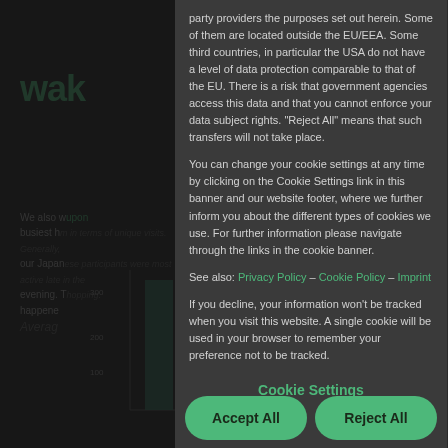[Figure (screenshot): Cookie consent overlay modal appearing on top of a darkened website page. The modal contains text about data protection, cookie settings, privacy policy links, and three buttons: Cookie Settings, Accept All, and Reject All.]
party providers the purposes set out herein. Some of them are located outside the EU/EEA. Some third countries, in particular the USA do not have a level of data protection comparable to that of the EU. There is a risk that government agencies access this data and that you cannot enforce your data subject rights. "Reject All" means that such transfers will not take place.
You can change your cookie settings at any time by clicking on the Cookie Settings link in this banner and our website footer, where we further inform you about the different types of cookies we use. For further information please navigate through the links in the cookie banner.
See also: Privacy Policy – Cookie Policy – Imprint
If you decline, your information won't be tracked when you visit this website. A single cookie will be used in your browser to remember your preference not to be tracked.
Cookie Settings
Accept All
Reject All